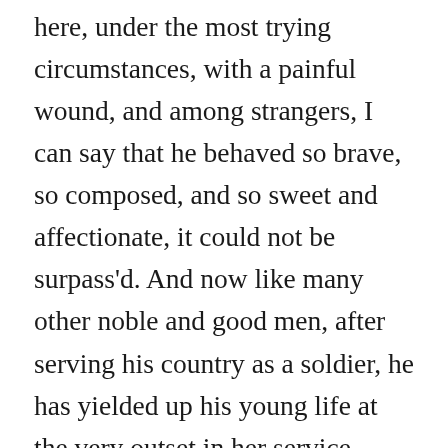here, under the most trying circumstances, with a painful wound, and among strangers, I can say that he behaved so brave, so composed, and so sweet and affectionate, it could not be surpass'd. And now like many other noble and good men, after serving his country as a soldier, he has yielded up his young life at the very outset in her service. Such things are gloomy—yet there is a text, “God doeth all things well”—the meaning of which, after due time, appears to the soul.